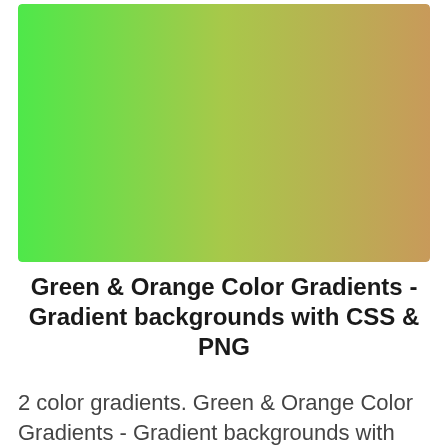[Figure (illustration): A green to orange linear color gradient, transitioning from bright green on the left to warm orange/tan on the right, displayed as a rectangular swatch.]
Green & Orange Color Gradients - Gradient backgrounds with CSS & PNG
2 color gradients. Green & Orange Color Gradients - Gradient backgrounds with